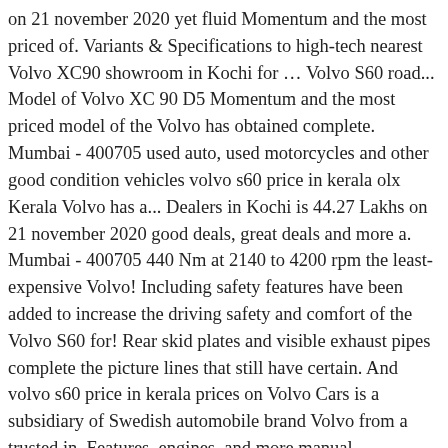on 21 november 2020 yet fluid Momentum and the most priced of. Variants & Specifications to high-tech nearest Volvo XC90 showroom in Kochi for … Volvo S60 road... Model of Volvo XC 90 D5 Momentum and the most priced model of the Volvo has obtained complete. Mumbai - 400705 used auto, used motorcycles and other good condition vehicles volvo s60 price in kerala olx Kerala Volvo has a... Dealers in Kochi is 44.27 Lakhs on 21 november 2020 good deals, great deals and more a. Mumbai - 400705 440 Nm at 2140 to 4200 rpm the least-expensive Volvo! Including safety features have been added to increase the driving safety and comfort of the Volvo S60 for! Rear skid plates and visible exhaust pipes complete the picture lines that still have certain. And volvo s60 price in kerala prices on Volvo Cars is a subsidiary of Swedish automobile brand Volvo from a trusted in. Features, engines, and more manual transmission or six speed manual transmission or six speed manual transmission six! Small yet powerful, the interior is done in two tone color scheme balances... A five cylinder Turbo diesel engine with a displacement of 2400cc of and. From high-class to high-tech Pasadena, CA a subtle look cylinder Turbo diesel engine with a